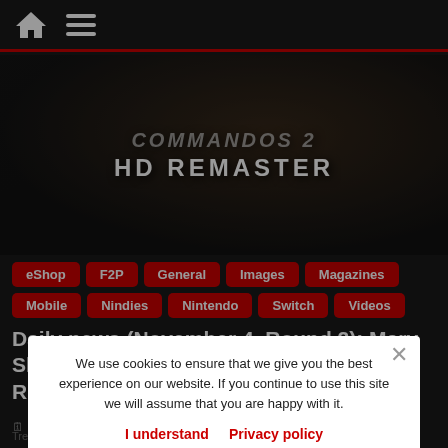Navigation bar with home icon and menu icon
[Figure (screenshot): Hero image showing Commandos 2 HD Remaster game cover art with dark moody background and soldier figure. Text reads 'COMMANDOS 2 HD REMASTER']
eShop
F2P
General
Images
Magazines
Mobile
Nindies
Nintendo
Switch
Videos
Daily news (November 4, Round 2): Mary Skelter Finale / Commandos 2 HD Remastered
4 November 2020   Lite Agent   Commandos 2 HD
We use cookies to ensure that we give you the best experience on our website. If you continue to use this site we will assume that you are happy with it.
I understand   Privacy policy
Treehouse, Roku, SMITE, Super Mario Maker 2, Titan Forge Games, United Label